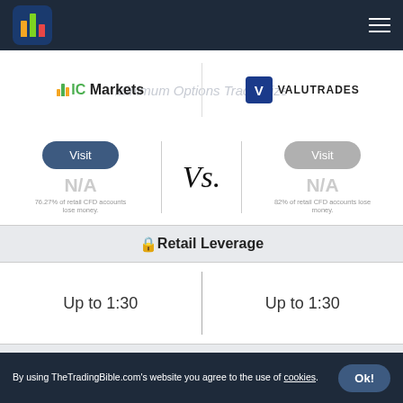IC Markets vs Valutrades
Minimum Options Trade Size
Visit | Vs. | Visit
N/A | N/A
76.27% of retail CFD accounts lose money.
82% of retail CFD accounts lose money.
🔒 Retail Leverage
Up to 1:30 | Up to 1:30
🔒 Professional Leverage
By using TheTradingBible.com's website you agree to the use of cookies.